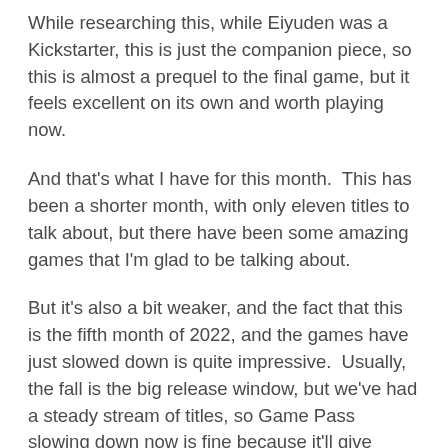While researching this, while Eiyuden was a Kickstarter, this is just the companion piece, so this is almost a prequel to the final game, but it feels excellent on its own and worth playing now.
And that's what I have for this month.  This has been a shorter month, with only eleven titles to talk about, but there have been some amazing games that I'm glad to be talking about.
But it's also a bit weaker, and the fact that this is the fifth month of 2022, and the games have just slowed down is quite impressive.  Usually, the fall is the big release window, but we've had a steady stream of titles, so Game Pass slowing down now is fine because it'll give players a chance to go back and check out older releases, or just play more of the titles from this month.